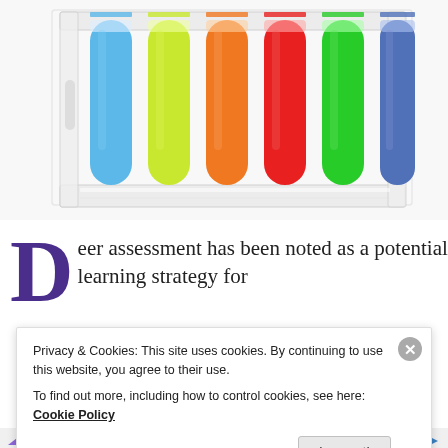[Figure (photo): Photograph of colorful test tubes in a rack, filled with various colored liquids: blue, yellow-green, orange, red, bright green, and purple/blue, in a clear acrylic stand against a white background.]
Deer assessment has been noted as a potential learning strategy for
Privacy & Cookies: This site uses cookies. By continuing to use this website, you agree to their use. To find out more, including how to control cookies, see here: Cookie Policy
AIRPORT: The...